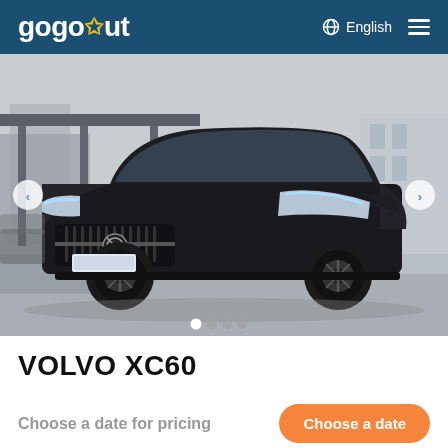gogoout  English  ☰
[Figure (photo): Black Volvo XC60 SUV parked in a lot, front three-quarter view. Navigation arrows on left and right sides. Four dot indicators at bottom (first dot active/white).]
VOLVO XC60
Choose a date for pricing
Choose a date